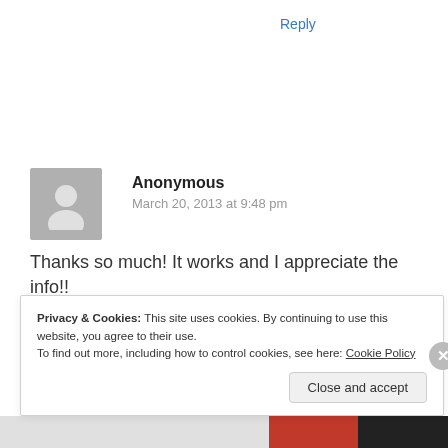Reply
[Figure (illustration): Anonymous user avatar — grey silhouette of a person on grey background]
Anonymous
March 20, 2013 at 9:48 pm
Thanks so much! It works and I appreciate the info!!
Reply
Privacy & Cookies: This site uses cookies. By continuing to use this website, you agree to their use.
To find out more, including how to control cookies, see here: Cookie Policy
Close and accept